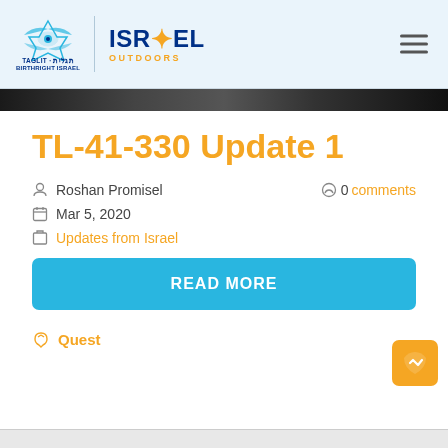Taglit Birthright Israel | Israel Outdoors
TL-41-330 Update 1
Roshan Promisel
0 comments
Mar 5, 2020
Updates from Israel
READ MORE
Quest